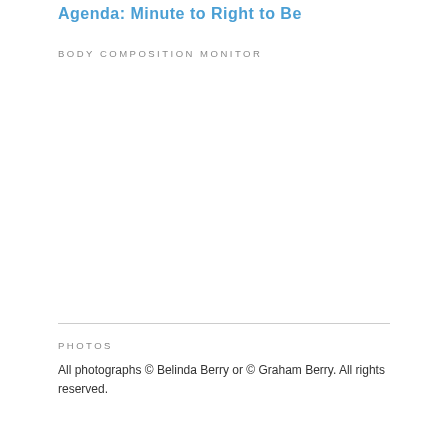Agenda: Minute to Right to Be
BODY COMPOSITION MONITOR
PHOTOS
All photographs © Belinda Berry or © Graham Berry. All rights reserved.